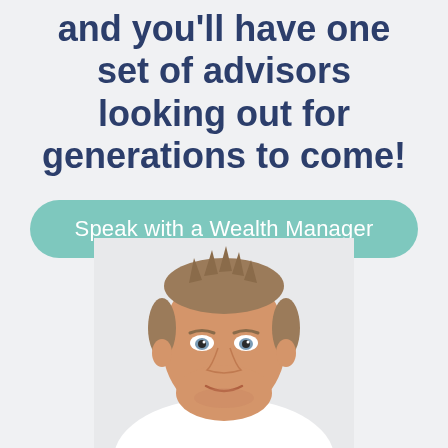and you'll have one set of advisors looking out for generations to come!
Speak with a Wealth Manager
[Figure (photo): Portrait photo of a middle-aged man with short blonde/brown hair, wearing a white shirt, shown from shoulders up, cropped at bottom of frame, on a light grey background.]